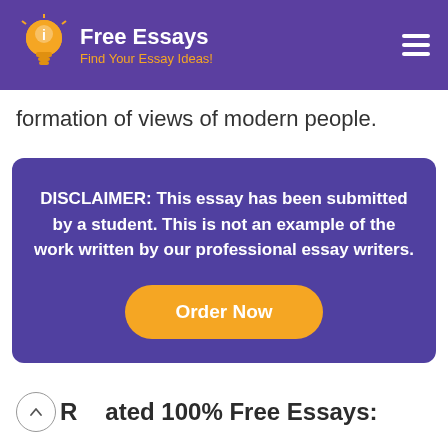Free Essays — Find Your Essay Ideas!
formation of views of modern people.
DISCLAIMER: This essay has been submitted by a student. This is not an example of the work written by our professional essay writers.
Order Now
Related 100% Free Essays: